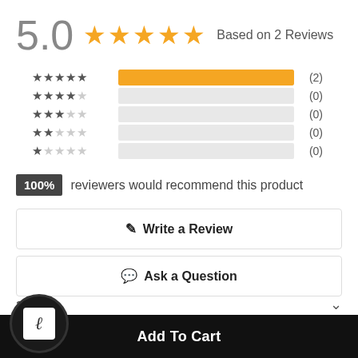[Figure (infographic): 5.0 star rating header with 5 gold stars and 'Based on 2 Reviews' text]
[Figure (bar-chart): Rating distribution histogram]
100% reviewers would recommend this product
Write a Review
Ask a Question
Add To Cart